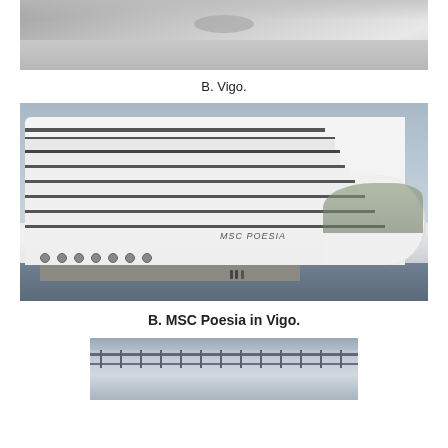[Figure (photo): Partial cropped photo at top of page, showing what appears to be a ship or maritime surface, cut off at the top edge.]
B. Vigo.
[Figure (photo): Photo of the MSC Poesia cruise ship docked at Vigo port. The large white cruise ship with multiple decks fills most of the frame. The name 'MSC POESIA' is visible on the hull. A pier/dock is visible in the foreground with small figures of people. Mountains and city visible in background.]
B. MSC Poesia in Vigo.
[Figure (photo): Partial photo at bottom of page showing what appears to be a railing or bridge structure against a blue-grey sky, cropped at the bottom edge.]